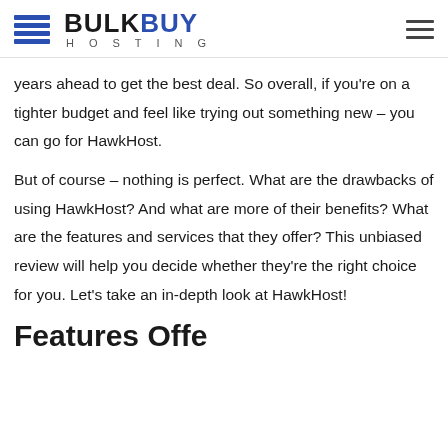BULKBUY HOSTING
years ahead to get the best deal. So overall, if you're on a tighter budget and feel like trying out something new – you can go for HawkHost.
But of course – nothing is perfect. What are the drawbacks of using HawkHost? And what are more of their benefits? What are the features and services that they offer? This unbiased review will help you decide whether they're the right choice for you. Let's take an in-depth look at HawkHost!
Features Offered by Hawk...